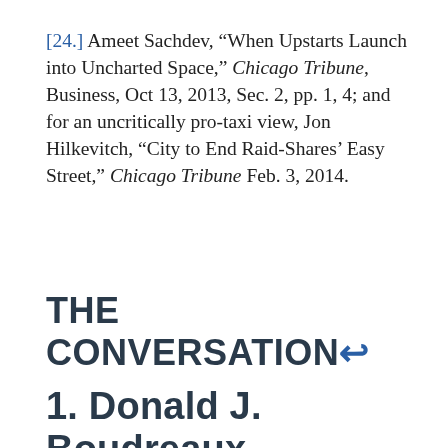[24.] Ameet Sachdev, “When Upstarts Launch into Uncharted Space,” Chicago Tribune, Business, Oct 13, 2013, Sec. 2, pp. 1, 4; and for an uncritically pro-taxi view, Jon Hilkevitch, “City to End Raid-Shares’ Easy Street,” Chicago Tribune Feb. 3, 2014.
THE CONVERSATION↩
1. Donald J.  Boudreaux,